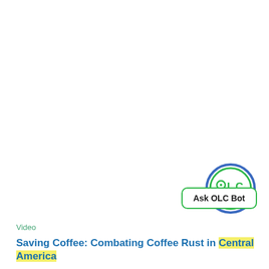[Figure (logo): OLC Bot logo: a circular face with blue outer ring and green inner ring, with 'OLC' text styled as eyes and a nose, and a small curved mouth below]
[Figure (other): Ask OLC Bot button: green-bordered rounded rectangle with bold text 'Ask OLC Bot']
Video
Saving Coffee: Combating Coffee Rust in Central America